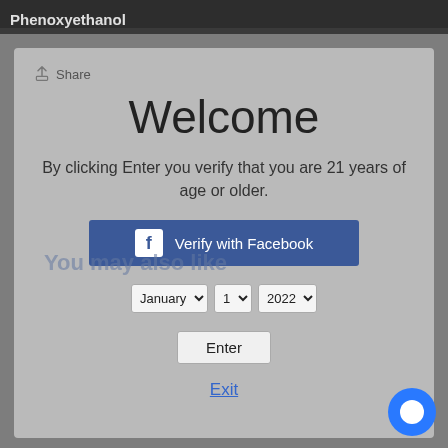Phenoxyethanol
Share
Welcome
You may also like
By clicking Enter you verify that you are 21 years of age or older.
[Figure (screenshot): Verify with Facebook button with Facebook logo icon]
[Figure (screenshot): Date dropdowns: January, 1, 2022]
[Figure (screenshot): Enter button]
Exit
[Figure (screenshot): Blue chat bubble icon in bottom right corner]